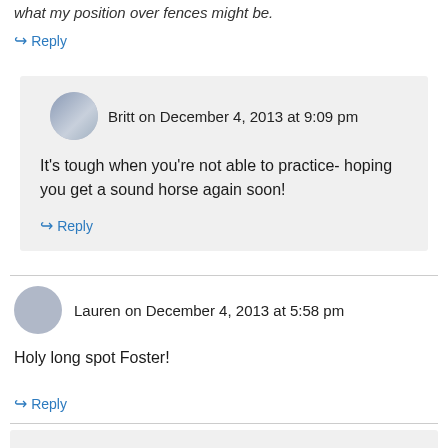what my position over fences might be.
↪ Reply
Britt on December 4, 2013 at 9:09 pm
It's tough when you're not able to practice- hoping you get a sound horse again soon!
↪ Reply
Lauren on December 4, 2013 at 5:58 pm
Holy long spot Foster!
↪ Reply